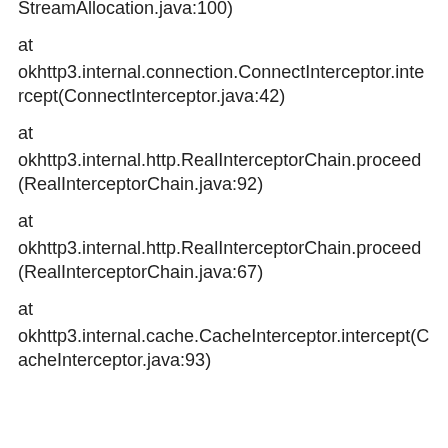StreamAllocation.java:100)
at okhttp3.internal.connection.ConnectInterceptor.intercept(ConnectInterceptor.java:42)
at okhttp3.internal.http.RealInterceptorChain.proceed(RealInterceptorChain.java:92)
at okhttp3.internal.http.RealInterceptorChain.proceed(RealInterceptorChain.java:67)
at okhttp3.internal.cache.CacheInterceptor.intercept(CacheInterceptor.java:93)